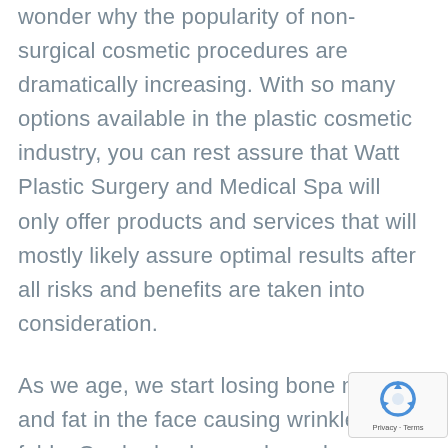wonder why the popularity of non-surgical cosmetic procedures are dramatically increasing. With so many options available in the plastic cosmetic industry, you can rest assure that Watt Plastic Surgery and Medical Spa will only offer products and services that will mostly likely assure optimal results after all risks and benefits are taken into consideration.
As we age, we start losing bone mass and fat in the face causing wrinkles and folds. Our body also produces less collagen which also affects skin laxity. Environmental factors such as pollution, sun exposure and dehydration can accelerate the rate at which our face ages. To